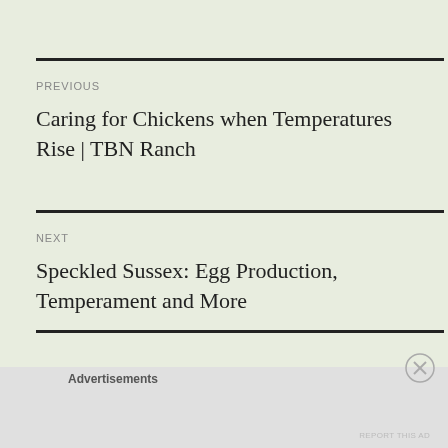PREVIOUS
Caring for Chickens when Temperatures Rise | TBN Ranch
NEXT
Speckled Sussex: Egg Production, Temperament and More
Advertisements